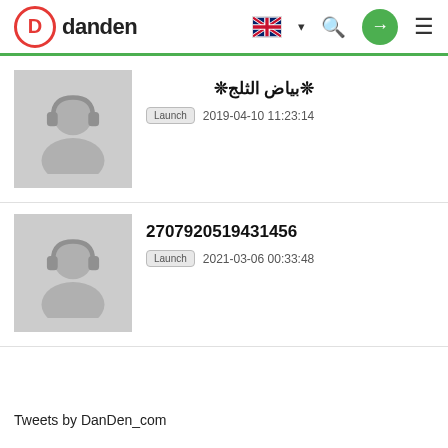danden
❊بياض الثلج❊
Launch 2019-04-10 11:23:14
2707920519431456
Launch 2021-03-06 00:33:48
Tweets by DanDen_com